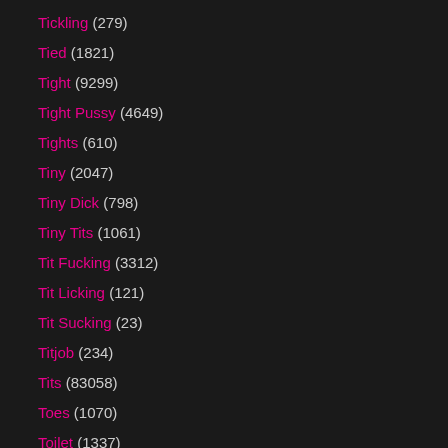Tickling (279)
Tied (1821)
Tight (9299)
Tight Pussy (4649)
Tights (610)
Tiny (2047)
Tiny Dick (798)
Tiny Tits (1061)
Tit Fucking (3312)
Tit Licking (121)
Tit Sucking (23)
Titjob (234)
Tits (83058)
Toes (1070)
Toilet (1337)